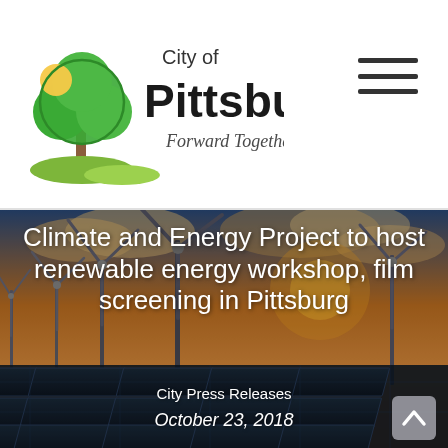[Figure (logo): City of Pittsburg logo with tree graphic and tagline 'Forward Together.']
[Figure (photo): Hero banner photo of wind turbines and solar panels against a sunset sky, with white text overlay showing article title, category and date.]
Climate and Energy Project to host renewable energy workshop, film screening in Pittsburg
City Press Releases
October 23, 2018